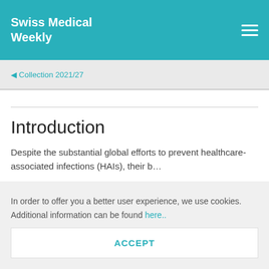Swiss Medical Weekly
◀ Collection 2021/27
Introduction
Despite the substantial global efforts to prevent healthcare-associated infections (HAIs), their b…
In order to offer you a better user experience, we use cookies. Additional information can be found here..
ACCEPT